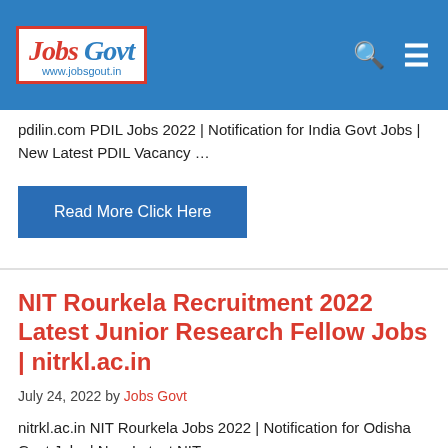Jobs Govt www.jobsgout.in
pdilin.com PDIL Jobs 2022 | Notification for India Govt Jobs | New Latest PDIL Vacancy …
Read More Click Here
NIT Rourkela Recruitment 2022 Latest Junior Research Fellow Jobs | nitrkl.ac.in
July 24, 2022 by Jobs Govt
nitrkl.ac.in NIT Rourkela Jobs 2022 | Notification for Odisha Govt Jobs | Now Latest NIT …